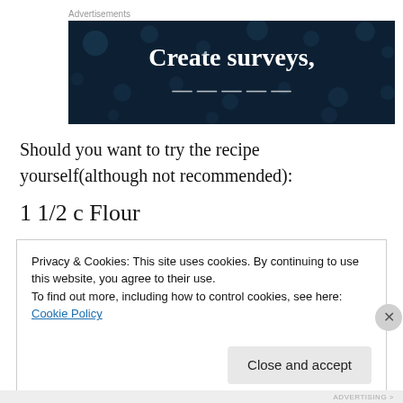[Figure (illustration): Dark navy advertisement banner with white bold serif text reading 'Create surveys,' and partially visible second line. Background has decorative dot/circle pattern.]
Should you want to try the recipe yourself(although not recommended):
1 1/2 c Flour
Privacy & Cookies: This site uses cookies. By continuing to use this website, you agree to their use.
To find out more, including how to control cookies, see here: Cookie Policy
Close and accept